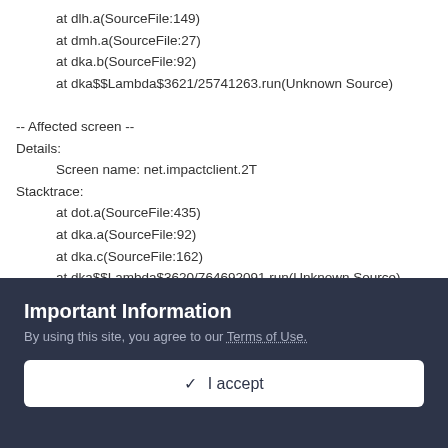at dlh.a(SourceFile:149)
    at dmh.a(SourceFile:27)
    at dka.b(SourceFile:92)
    at dka$$Lambda$3621/25741263.run(Unknown Source)

-- Affected screen --
Details:
    Screen name: net.impactclient.2T
Stacktrace:
    at dot.a(SourceFile:435)
    at dka.a(SourceFile:92)
    at dka.c(SourceFile:162)
    at dka$$Lambda$3620/764692091.run(Unknown Source)
    at aob.execute(ThreadTaskExecutor.java:104)
    at dka.b(SourceFile:162)
    at dka$$Lambda$2354/1214025054.invoke(Unknown Source)
Important Information
By using this site, you agree to our Terms of Use.
✓  I accept